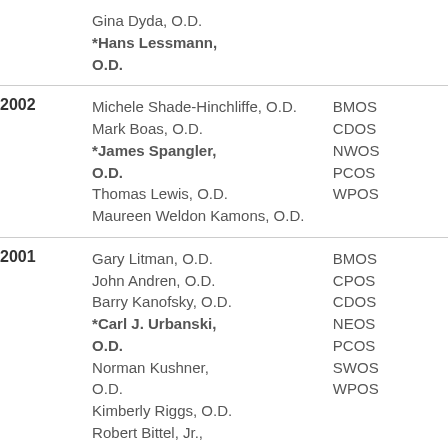| Year | Names | Organizations |
| --- | --- | --- |
|  | Gina Dyda, O.D.
*Hans Lessmann, O.D. |  |
| 2002 | Michele Shade-Hinchliffe, O.D.
Mark Boas, O.D.
*James Spangler, O.D.
Thomas Lewis, O.D.
Maureen Weldon Kamons, O.D. | BMOS
CDOS
NWOS
PCOS
WPOS |
| 2001 | Gary Litman, O.D.
John Andren, O.D.
Barry Kanofsky, O.D.
*Carl J. Urbanski, O.D.
Norman Kushner, O.D.
Kimberly Riggs, O.D.
Robert Bittel, Jr., O.D. | BMOS
CPOS
CDOS
NEOS
PCOS
SWOS
WPOS |
| 2000 | Mark Boas, O.D. | CDOS |